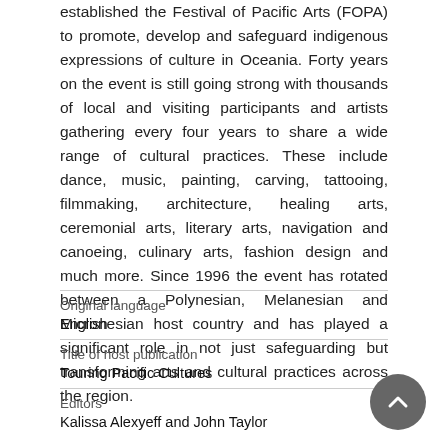established the Festival of Pacific Arts (FOPA) to promote, develop and safeguard indigenous expressions of culture in Oceania. Forty years on the event is still going strong with thousands of local and visiting participants and artists gathering every four years to share a wide range of cultural practices. These include dance, music, painting, carving, tattooing, filmmaking, architecture, healing arts, ceremonial arts, literary arts, navigation and canoeing, culinary arts, fashion design and much more. Since 1996 the event has rotated between a Polynesian, Melanesian and Micronesian host country and has played a significant role in not just safeguarding but transforming arts and cultural practices across the region.
| Field | Value |
| --- | --- |
| Original language | English |
| Title of host publication | Touring Pacific Cultures |
| Editors | Kalissa Alexyeff and John Taylor |